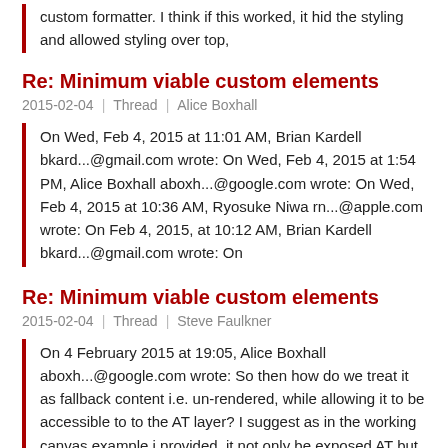custom formatter. I think if this worked, it hid the styling and allowed styling over top,
Re: Minimum viable custom elements
2015-02-04  |  Thread  |  Alice Boxhall
On Wed, Feb 4, 2015 at 11:01 AM, Brian Kardell bkard...@gmail.com wrote: On Wed, Feb 4, 2015 at 1:54 PM, Alice Boxhall aboxh...@google.com wrote: On Wed, Feb 4, 2015 at 10:36 AM, Ryosuke Niwa rn...@apple.com wrote: On Feb 4, 2015, at 10:12 AM, Brian Kardell bkard...@gmail.com wrote: On
Re: Minimum viable custom elements
2015-02-04  |  Thread  |  Steve Faulkner
On 4 February 2015 at 19:05, Alice Boxhall aboxh...@google.com wrote: So then how do we treat it as fallback content i.e. un-rendered, while allowing it to be accessible to to the AT layer? I suggest as in the working canvas example i provided, it not only be exposed AT but also to keyboard
Re: Minimum viable custom elements
2015-02-04  |  Thread  |  Ryosuke Niwa